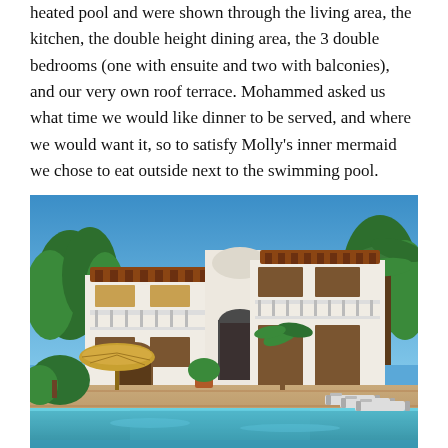heated pool and were shown through the living area, the kitchen, the double height dining area, the 3 double bedrooms (one with ensuite and two with balconies), and our very own roof terrace. Mohammed asked us what time we would like dinner to be served, and where we would want it, so to satisfy Molly's inner mermaid we chose to eat outside next to the swimming pool.
[Figure (photo): A white Moroccan-style villa with wooden pergola balconies and archways, surrounded by palm trees and lush greenery, with a blue swimming pool in the foreground, sun loungers to the right, and a thatched umbrella to the left. Bright blue sky overhead.]